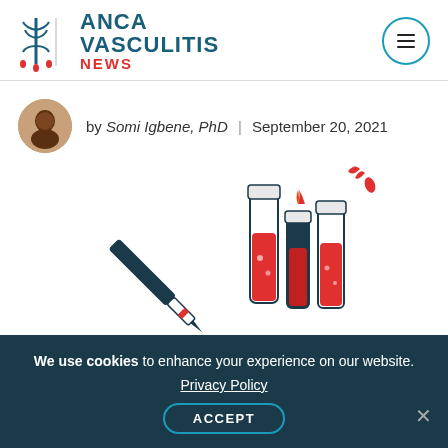ANCA VASCULITIS NEWS
by Somi Igbene, PhD | September 20, 2021
[Figure (illustration): Illustration of a dropper/pipette on the left and blood-filled test tubes on the right, with red splatter accent marks, on a white background.]
We use cookies to enhance your experience on our website. Privacy Policy ACCEPT